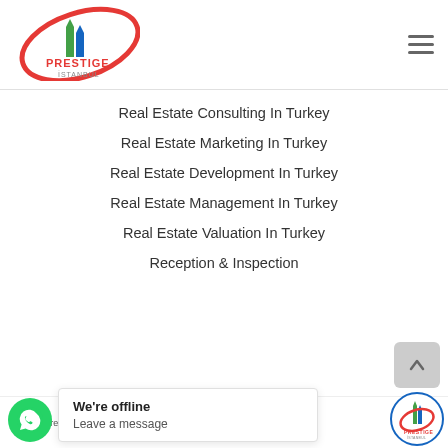[Figure (logo): Prestige Istanbul real estate logo with red swoosh and green/blue building graphic, tagline 'See It. Love It.']
Real Estate Consulting In Turkey
Real Estate Marketing In Turkey
Real Estate Development In Turkey
Real Estate Management In Turkey
Real Estate Valuation In Turkey
Reception & Inspection
© 2022. Prestige Istanbul ...  by e...
[Figure (other): Chat popup showing 'We're offline' and 'Leave a message']
[Figure (logo): Small Prestige Istanbul circular logo with blue border]